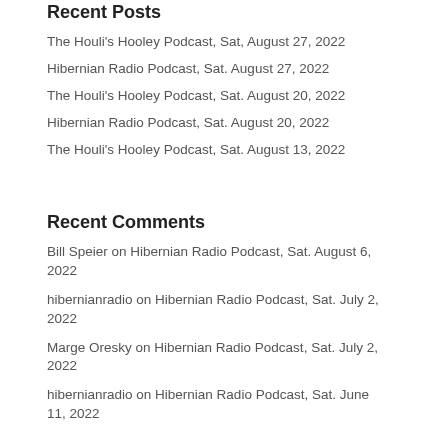Recent Posts
The Houli's Hooley Podcast, Sat, August 27, 2022
Hibernian Radio Podcast, Sat. August 27, 2022
The Houli's Hooley Podcast, Sat. August 20, 2022
Hibernian Radio Podcast, Sat. August 20, 2022
The Houli's Hooley Podcast, Sat. August 13, 2022
Recent Comments
Bill Speier on Hibernian Radio Podcast, Sat. August 6, 2022
hibernianradio on Hibernian Radio Podcast, Sat. July 2, 2022
Marge Oresky on Hibernian Radio Podcast, Sat. July 2, 2022
hibernianradio on Hibernian Radio Podcast, Sat. June 11, 2022